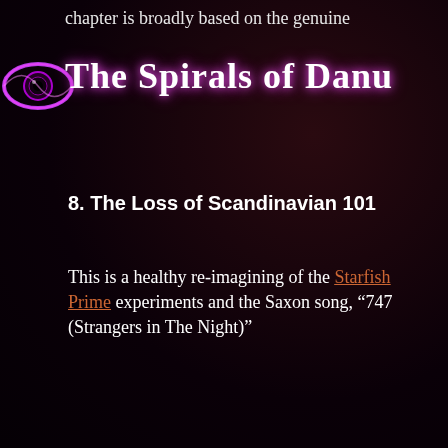chapter is broadly based on the genuine
The Spirals of Danu
8. The Loss of Scandinavian 101
This is a healthy re-imagining of the Starfish Prime experiments and the Saxon song, “747 (Strangers in The Night)”
[Figure (screenshot): YouTube video embed showing SAXON - 747 (Strangers in the ...) with a thumbnail of the Wheels of Steel album art featuring an eagle emblem and a play button overlay]